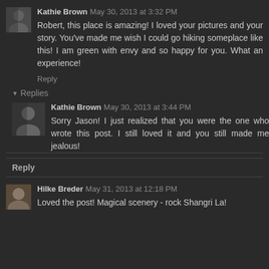Kathie Brown May 30, 2013 at 3:32 PM
Robert, this place is amazing! I loved your pictures and your story. You've made me wish I could go hiking someplace like this! I am green with envy and so happy for you. What an experience!
Reply
Replies
Kathie Brown May 30, 2013 at 3:44 PM
Sorry Jason! I just realized that you were the one who wrote this post. I still loved it and you still made me jealous!
Reply
Hilke Breder May 31, 2013 at 12:18 PM
Loved the post! Magical scenery - rock Shangri La!